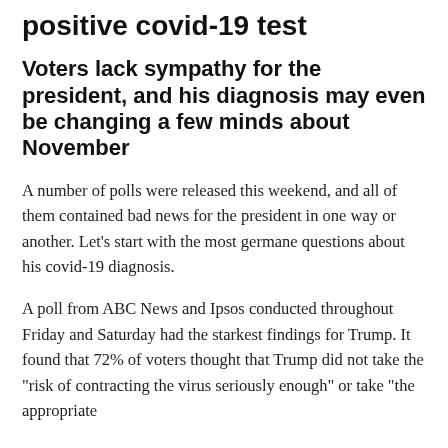positive covid-19 test
Voters lack sympathy for the president, and his diagnosis may even be changing a few minds about November
A number of polls were released this weekend, and all of them contained bad news for the president in one way or another. Let’s start with the most germane questions about his covid-19 diagnosis.
A poll from ABC News and Ipsos conducted throughout Friday and Saturday had the starkest findings for Trump. It found that 72% of voters thought that Trump did not take the "risk of contracting the virus seriously enough" or take "the appropriate